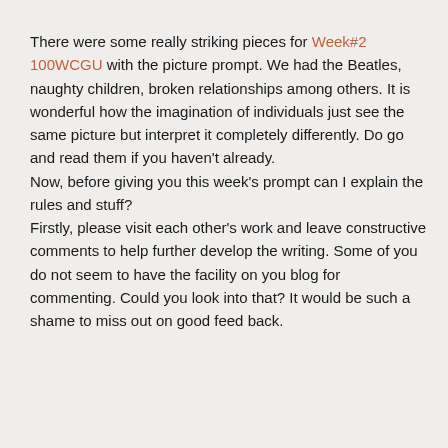There were some really striking pieces for Week#2 100WCGU with the picture prompt. We had the Beatles, naughty children, broken relationships among others. It is wonderful how the imagination of individuals just see the same picture but interpret it completely differently. Do go and read them if you haven't already.
Now, before giving you this week's prompt can I explain the rules and stuff?
Firstly, please visit each other's work and leave constructive comments to help further develop the writing. Some of you do not seem to have the facility on you blog for commenting. Could you look into that? It would be such a shame to miss out on good feed back.